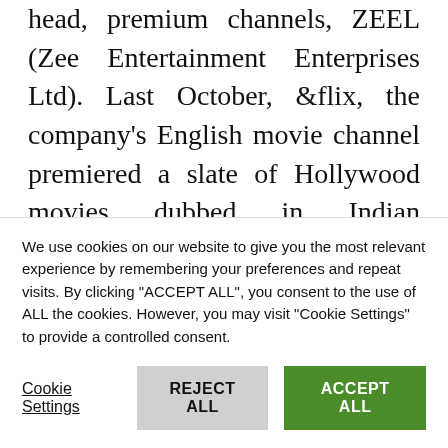head, premium channels, ZEEL (Zee Entertainment Enterprises Ltd). Last October, &flix, the company's English movie channel premiered a slate of Hollywood movies dubbed in Indian languages, which were screened across the network's channels including &PrivéHD, Zee Café, &Pictures and a clutch of its regional language film channels.
The English entertainment channels owned by the
We use cookies on our website to give you the most relevant experience by remembering your preferences and repeat visits. By clicking "ACCEPT ALL", you consent to the use of ALL the cookies. However, you may visit "Cookie Settings" to provide a controlled consent.